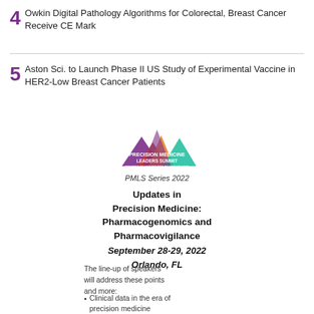4  Owkin Digital Pathology Algorithms for Colorectal, Breast Cancer Receive CE Mark
5  Aston Sci. to Launch Phase II US Study of Experimental Vaccine in HER2-Low Breast Cancer Patients
[Figure (logo): Precision Medicine Leaders Summit logo with mountain shapes in purple, red, orange and teal colors]
PMLS Series 2022
Updates in Precision Medicine: Pharmacogenomics and Pharmacovigilance
September 28-29, 2022
Orlando, FL
The line-up of speakers will address these points and more:
Clinical data in the era of precision medicine